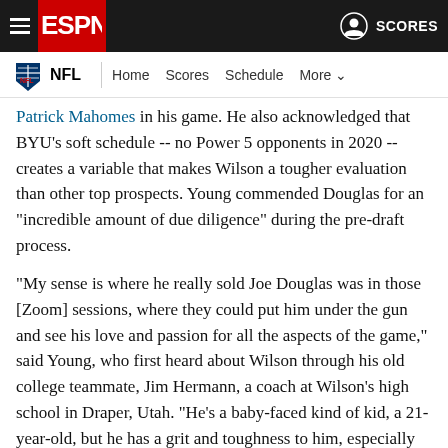ESPN navigation bar with hamburger menu, ESPN logo, user icon, and SCORES
NFL | Home   Scores   Schedule   More
Patrick Mahomes in his game. He also acknowledged that BYU's soft schedule -- no Power 5 opponents in 2020 -- creates a variable that makes Wilson a tougher evaluation than other top prospects. Young commended Douglas for an "incredible amount of due diligence" during the pre-draft process.
"My sense is where he really sold Joe Douglas was in those [Zoom] sessions, where they could put him under the gun and see his love and passion for all the aspects of the game," said Young, who first heard about Wilson through his old college teammate, Jim Hermann, a coach at Wilson's high school in Draper, Utah. "He's a baby-faced kind of kid, a 21-year-old, but he has a grit and toughness to him, especially mentally."
A few of the highlights from the Young interview: